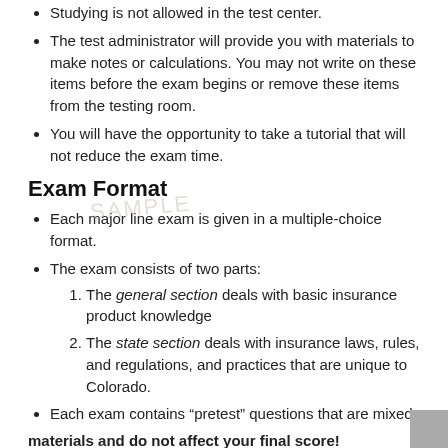Studying is not allowed in the test center.
The test administrator will provide you with materials to make notes or calculations. You may not write on these items before the exam begins or remove these items from the testing room.
You will have the opportunity to take a tutorial that will not reduce the exam time.
Exam Format
Each major line exam is given in a multiple-choice format.
The exam consists of two parts:
1. The general section deals with basic insurance product knowledge
2. The state section deals with insurance laws, rules, and regulations, and practices that are unique to Colorado.
Each exam contains “pretest” questions that are mixed in with the scored questions and are not identified. Pretest questions may not be covered in your educational materials and do not affect your final score!